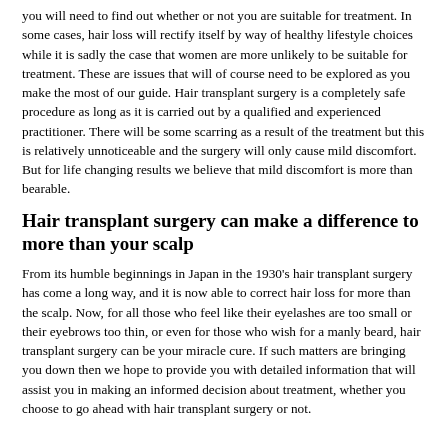you will need to find out whether or not you are suitable for treatment. In some cases, hair loss will rectify itself by way of healthy lifestyle choices while it is sadly the case that women are more unlikely to be suitable for treatment. These are issues that will of course need to be explored as you make the most of our guide. Hair transplant surgery is a completely safe procedure as long as it is carried out by a qualified and experienced practitioner. There will be some scarring as a result of the treatment but this is relatively unnoticeable and the surgery will only cause mild discomfort. But for life changing results we believe that mild discomfort is more than bearable.
Hair transplant surgery can make a difference to more than your scalp
From its humble beginnings in Japan in the 1930's hair transplant surgery has come a long way, and it is now able to correct hair loss for more than the scalp. Now, for all those who feel like their eyelashes are too small or their eyebrows too thin, or even for those who wish for a manly beard, hair transplant surgery can be your miracle cure. If such matters are bringing you down then we hope to provide you with detailed information that will assist you in making an informed decision about treatment, whether you choose to go ahead with hair transplant surgery or not.